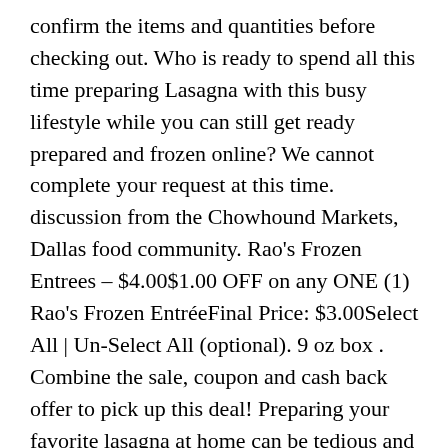confirm the items and quantities before checking out. Who is ready to spend all this time preparing Lasagna with this busy lifestyle while you can still get ready prepared and frozen online? We cannot complete your request at this time. discussion from the Chowhound Markets, Dallas food community. Rao's Frozen Entrees – $4.00$1.00 OFF on any ONE (1) Rao's Frozen EntréeFinal Price: $3.00Select All | Un-Select All (optional). 9 oz box . Combine the sale, coupon and cash back offer to pick up this deal! Preparing your favorite lasagna at home can be tedious and hectic. Doesn't look like we have that category. There is information